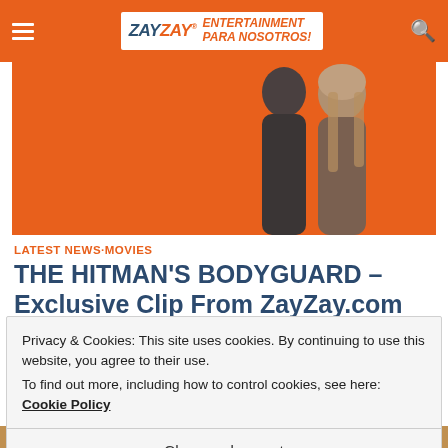ZayZay Entertainment Para Nosotros!
[Figure (photo): Movie promotional image for The Hitman's Bodyguard showing two silhouetted figures against an orange background, with text 'BLU-RAY & DVD NOV 21']
LATEST NEWS·MOVIES
THE HITMAN'S BODYGUARD – Exclusive Clip From ZayZay.com
November 7, 2017
Privacy & Cookies: This site uses cookies. By continuing to use this website, you agree to their use.
To find out more, including how to control cookies, see here: Cookie Policy
Close and accept